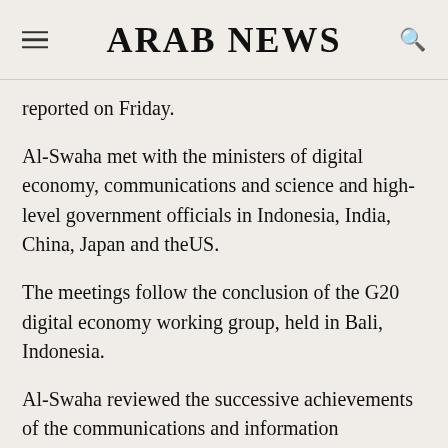ARAB NEWS
reported on Friday.
Al-Swaha met with the ministers of digital economy, communications and science and high-level government officials in Indonesia, India, China, Japan and theUS.
The meetings follow the conclusion of the G20 digital economy working group, held in Bali, Indonesia.
Al-Swaha reviewed the successive achievements of the communications and information technology system in the Kingdom with the support of the Saudi leadership, which qualified it to issue many relevant international and global